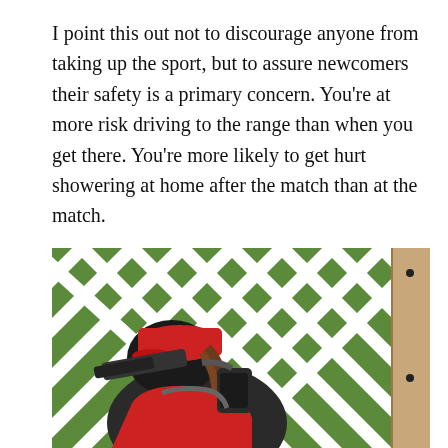I point this out not to discourage anyone from taking up the sport, but to assure newcomers their safety is a primary concern. You're at more risk driving to the range than when you get there. You're more likely to get hurt showering at home after the match than at the match.
[Figure (photo): A person wearing a red cap and dark jacket, bent forward aiming or looking through a firearm or optical device, against a background of a white lattice fence with green diamond shapes visible through the openings.]